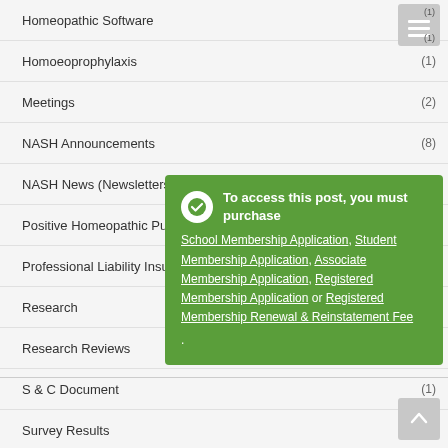Homeopathic Software (1)
Homoeoprophylaxis (1)
Meetings (2)
NASH Announcements (8)
NASH News (Newsletters) (90)
Positive Homeopathic Publicity (1)
Professional Liability Insurance (2)
Research (2)
Research Reviews (1)
S & C Document (1)
Survey Results (1)
The American Homeopath (1)
Webinars (72)
To access this post, you must purchase School Membership Application, Student Membership Application, Associate Membership Application, Registered Membership Application or Registered Membership Renewal & Reinstatement Fee.